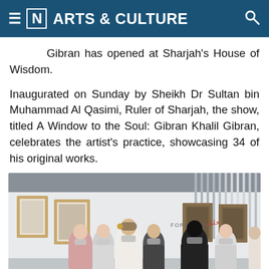≡ [N] ARTS & CULTURE
Gibran has opened at Sharjah's House of Wisdom.
Inaugurated on Sunday by Sheikh Dr Sultan bin Muhammad Al Qasimi, Ruler of Sharjah, the show, titled A Window to the Soul: Gibran Khalil Gibran, celebrates the artist's practice, showcasing 34 of his original works.
[Figure (photo): Group of people in masks standing in a gallery with framed artworks on the walls. On the right side a sign reads 'FORMATION'. The people are dressed in traditional Emirati and Middle Eastern attire.]